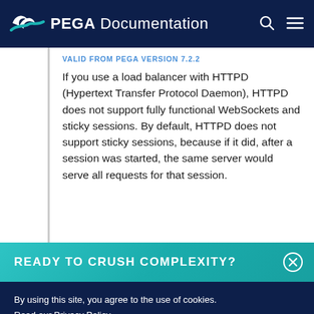PEGA Documentation
VALID FROM PEGA VERSION 7.2.2
If you use a load balancer with HTTPD (Hypertext Transfer Protocol Daemon), HTTPD does not support fully functional WebSockets and sticky sessions. By default, HTTPD does not support sticky sessions, because if it did, after a session was started, the same server would serve all requests for that session.
READY TO CRUSH COMPLEXITY?
By using this site, you agree to the use of cookies.
Read our Privacy Policy
Accept and continue
About cookies